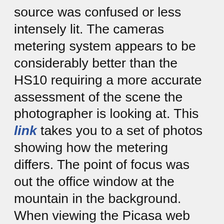source was confused or less intensely lit. The cameras metering system appears to be considerably better than the HS10 requiring a more accurate assessment of the scene the photographer is looking at. This link takes you to a set of photos showing how the metering differs. The point of focus was out the office window at the mountain in the background. When viewing the Picasa web album click on the full details link on the right of the page. You will note that there doesn't appear to be a great deal of difference between spot and average in the three images shown. This comes about as the light source is directly from outside so both average and spot are metering  correctly at this point, however multi has given the most accurate assessment of the scene I presented the camera with, in terms of overall lighting. Had I bumped the EV up this would have been even more apparent with the exterior highlights blowing out even more. These images